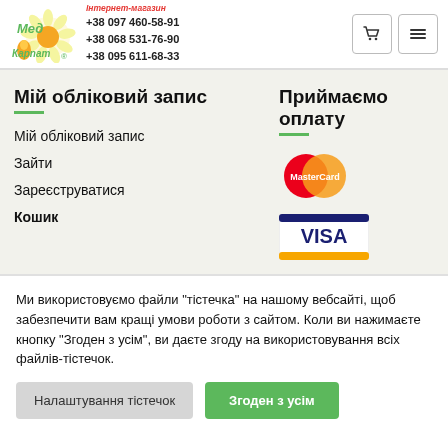Інтернет-магазин Мед Карпат +38 097 460-58-91 +38 068 531-76-90 +38 095 611-68-33
Мій обліковий запис
Приймаємо оплату
Мій обліковий запис
Зайти
Зареєструватися
Кошик
[Figure (logo): MasterCard payment logo]
[Figure (logo): VISA payment logo]
Ми використовуємо файли "тістечка" на нашому вебсайті, щоб забезпечити вам кращі умови роботи з сайтом. Коли ви нажимаєте кнопку "Згоден з усім", ви даєте згоду на використовування всіх файлів-тістечок.
Налаштування тістечок | Згоден з усім